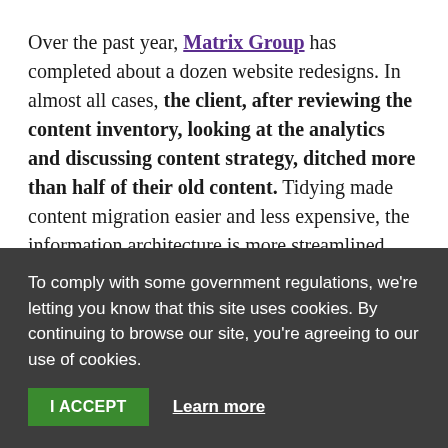Over the past year, Matrix Group has completed about a dozen website redesigns. In almost all cases, the client, after reviewing the content inventory, looking at the analytics and discussing content strategy, ditched more than half of their old content. Tidying made content migration easier and less expensive, the information architecture is more streamlined, and site search is more effective.

In the next blog post, I'll talk about love. What's love
To comply with some government regulations, we're letting you know that this site uses cookies. By continuing to browse our site, you're agreeing to our use of cookies.